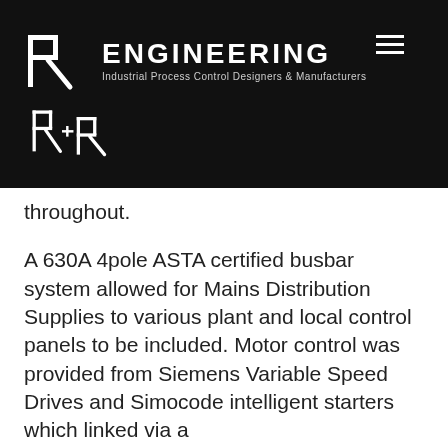[Figure (logo): R+R Engineering logo with stylized R letterforms in white on black background, with text 'ENGINEERING' and subtitle 'Industrial Process Control Designers & Manufacturers', plus hamburger menu icon]
throughout.
A 630A 4pole ASTA certified busbar system allowed for Mains Distribution Supplies to various plant and local control panels to be included. Motor control was provided from Siemens Variable Speed Drives and Simocode intelligent starters which linked via a
Profinet network back to a Siemens S7-1500 PLC. All ethernet cabling was completed to